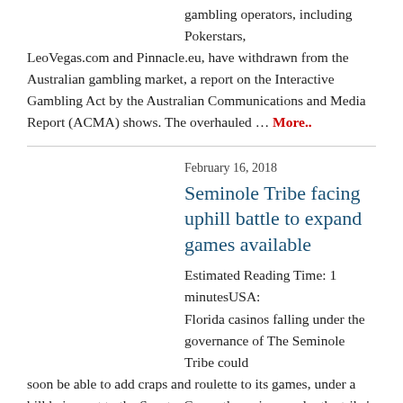gambling operators, including Pokerstars, LeoVegas.com and Pinnacle.eu, have withdrawn from the Australian gambling market, a report on the Interactive Gambling Act by the Australian Communications and Media Report (ACMA) shows. The overhauled … More..
February 16, 2018
Seminole Tribe facing uphill battle to expand games available
Estimated Reading Time: 1 minutesUSA: Florida casinos falling under the governance of The Seminole Tribe could soon be able to add craps and roulette to its games, under a bill being put to the Senate. Currently casinos under the tribe's … More..